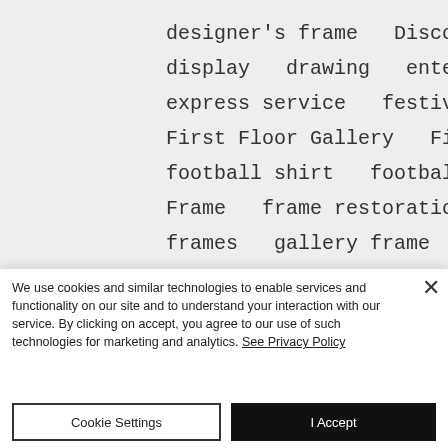designer's frame   Discover Magazine   display   drawing   enterpreneurs   express service   festive season   fine art   First Floor Gallery   First Floor Gellery   football shirt   football shirt framing   Frame   frame restoration   framed flag   frames   gallery frame   glass   gold frame   grant   greetings   grey   Hampshire
We use cookies and similar technologies to enable services and functionality on our site and to understand your interaction with our service. By clicking on accept, you agree to our use of such technologies for marketing and analytics. See Privacy Policy
Cookie Settings
I Accept